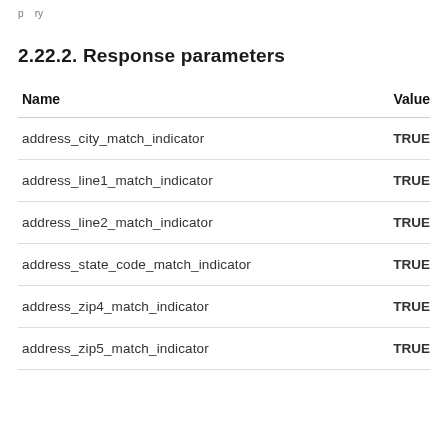p ... ry ...
2.22.2. Response parameters
| Name | Value |
| --- | --- |
| address_city_match_indicator | TRUE |
| address_line1_match_indicator | TRUE |
| address_line2_match_indicator | TRUE |
| address_state_code_match_indicator | TRUE |
| address_zip4_match_indicator | TRUE |
| address_zip5_match_indicator | TRUE |